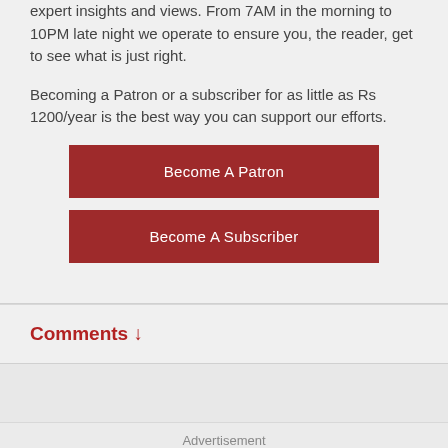expert insights and views. From 7AM in the morning to 10PM late night we operate to ensure you, the reader, get to see what is just right.

Becoming a Patron or a subscriber for as little as Rs 1200/year is the best way you can support our efforts.
Become A Patron
Become A Subscriber
Comments ↓
Advertisement